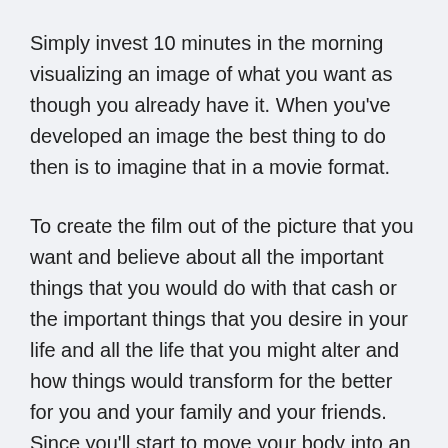Simply invest 10 minutes in the morning visualizing an image of what you want as though you already have it. When you've developed an image the best thing to do then is to imagine that in a movie format.
To create the film out of the picture that you want and believe about all the important things that you would do with that cash or the important things that you desire in your life and all the life that you might alter and how things would transform for the better for you and your family and your friends. Since you'll start to move your body into an extremely powerful vibration, and these things will make that faith and belief attract a lot much better.